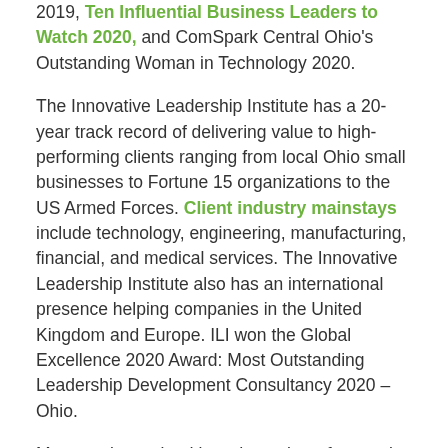2019, Ten Influential Business Leaders to Watch 2020, and ComSpark Central Ohio's Outstanding Woman in Technology 2020.
The Innovative Leadership Institute has a 20-year track record of delivering value to high-performing clients ranging from local Ohio small businesses to Fortune 15 organizations to the US Armed Forces. Client industry mainstays include technology, engineering, manufacturing, financial, and medical services. The Innovative Leadership Institute also has an international presence helping companies in the United Kingdom and Europe. ILI won the Global Excellence 2020 Award: Most Outstanding Leadership Development Consultancy 2020 – Ohio.
Maureen is a valued board member of several organizations. Before founding the Innovative...